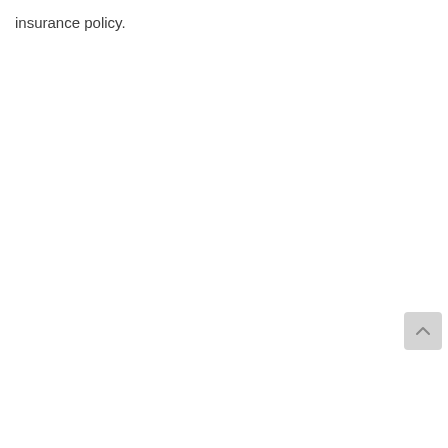insurance policy.
[Figure (other): Scroll-to-top button with upward chevron arrow, light gray rounded rectangle]